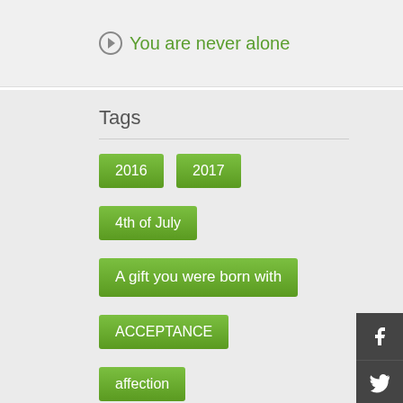You are never alone
Tags
2016
2017
4th of July
A gift you were born with
ACCEPTANCE
affection
affirmationa
affirmations